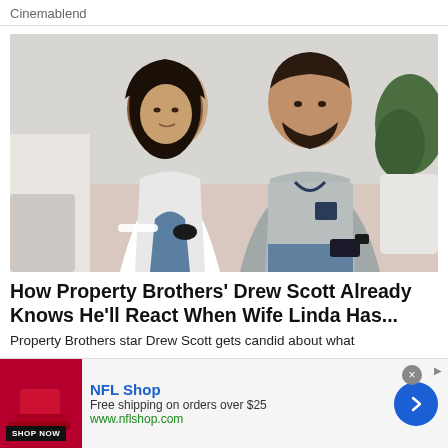Cinemablend
[Figure (photo): A woman with long dark hair wearing a white outfit and a man with a beard wearing a grey sweatshirt sitting on a couch together]
How Property Brothers' Drew Scott Already Knows He'll React When Wife Linda Has...
Property Brothers star Drew Scott gets candid about what
[Figure (other): NFL Shop advertisement banner. Image of red NFL Shop product on left. Text: NFL Shop, Free shipping on orders over $25, www.nflshop.com. SHOP NOW button. Blue arrow circle button on right. X close button.]